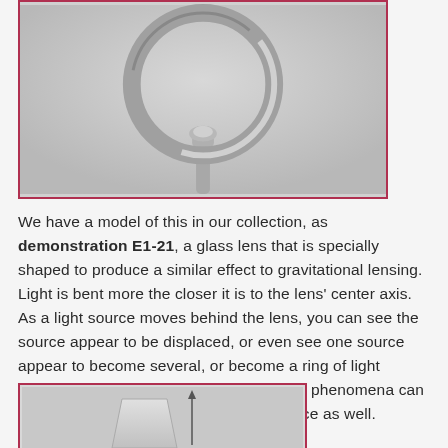[Figure (photo): Photograph of a circular glass lens on a stand, showing a ring-shaped lens mounted on a cylindrical post, photographed against a light gray background. The image is framed with a dark red/crimson border.]
We have a model of this in our collection, as demonstration E1-21, a glass lens that is specially shaped to produce a similar effect to gravitational lensing. Light is bent more the closer it is to the lens' center axis. As a light source moves behind the lens, you can see the source appear to be displaced, or even see one source appear to become several, or become a ring of light around the center of the lens. All of these phenomena can be seen from gravitational lensing in space as well.
[Figure (photo): Partial photograph showing a diagram or apparatus related to gravitational lensing demonstration, with a trapezoidal shape and a vertical arrow, framed with a dark red/crimson border.]